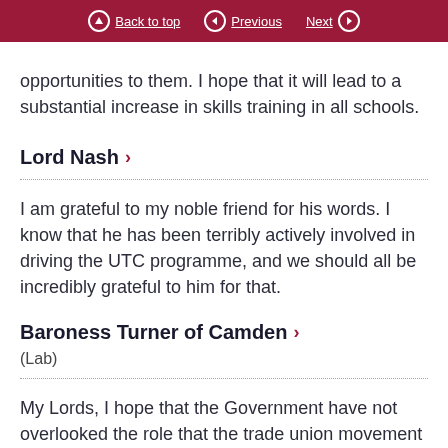Back to top | Previous | Next
opportunities to them. I hope that it will lead to a substantial increase in skills training in all schools.
Lord Nash
I am grateful to my noble friend for his words. I know that he has been terribly actively involved in driving the UTC programme, and we should all be incredibly grateful to him for that.
Baroness Turner of Camden
(Lab)
My Lords, I hope that the Government have not overlooked the role that the trade union movement